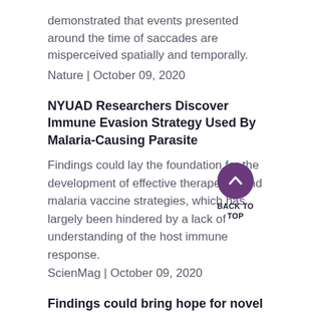demonstrated that events presented around the time of saccades are misperceived spatially and temporally. Nature | October 09, 2020
NYUAD Researchers Discover Immune Evasion Strategy Used By Malaria-Causing Parasite
Findings could lay the foundation for the development of effective therapeutic and malaria vaccine strategies, which has largely been hindered by a lack of understanding of the host immune response.
ScienMag | October 09, 2020
Findings could bring hope for novel